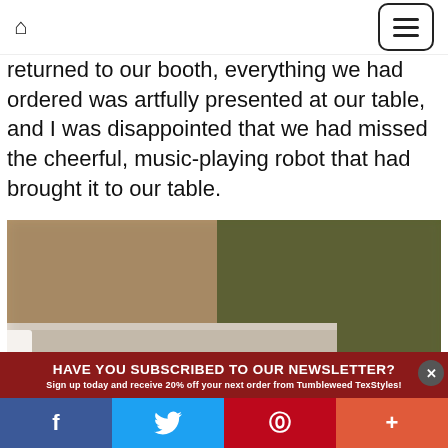[home icon] [menu button]
returned to our booth, everything we had ordered was artfully presented at our table, and I was disappointed that we had missed the cheerful, music-playing robot that had brought it to our table.
[Figure (photo): Blurred close-up photo of a restaurant table setting with a white bowl/dish and blurred green and brown background suggesting booth seating.]
HAVE YOU SUBSCRIBED TO OUR NEWSLETTER?
Sign up today and receive 20% off your next order from Tumbleweed TexStyles!
f  [twitter bird]  p  +